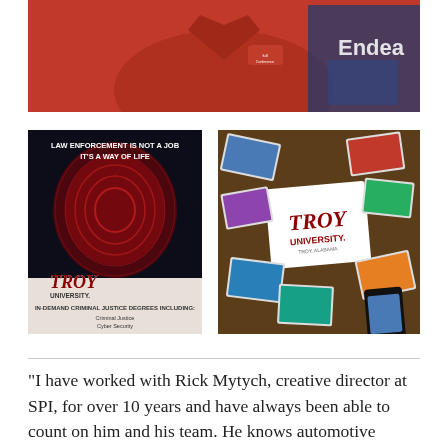[Figure (photo): Person wearing a red polo shirt, seated, with a blue banner reading 'Endeavour' partially visible in the background]
[Figure (photo): Troy University law enforcement advertisement: dark background with red fingerprint graphic, text 'LAW ENFORCEMENT IS NOT A JOB IT'S A WAY OF LIFE', Troy University logo, and 'IN-DEMAND CRIMINAL JUSTICE DEGREES INCLUDING: Criminal Justice, Cyber Security, Homeland Security']
[Figure (photo): Troy University collage image showing the Troy University logo on white background surrounded by scattered photos of students, campus events, sports, and activities]
“I have worked with Rick Mytych, creative director at SPI, for over 10 years and have always been able to count on him and his team. He knows automotive retail, delivers